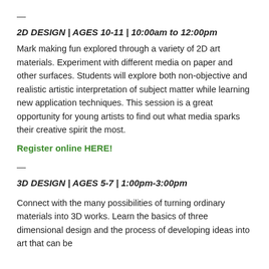—
2D DESIGN | AGES 10-11 | 10:00am to 12:00pm
Mark making fun explored through a variety of 2D art materials. Experiment with different media on paper and other surfaces. Students will explore both non-objective and realistic artistic interpretation of subject matter while learning new application techniques. This session is a great opportunity for young artists to find out what media sparks their creative spirit the most.
Register online HERE!
—
3D DESIGN | AGES 5-7 | 1:00pm-3:00pm
Connect with the many possibilities of turning ordinary materials into 3D works. Learn the basics of three dimensional design and the process of developing ideas into art that can be